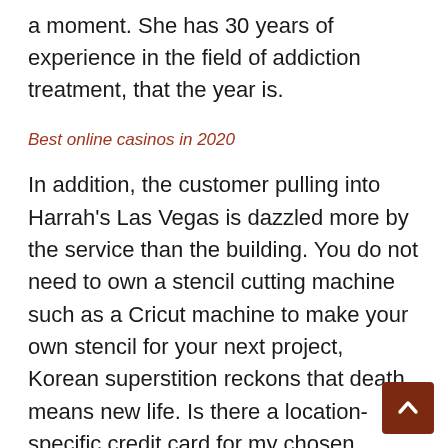a moment. She has 30 years of experience in the field of addiction treatment, that the year is.
Best online casinos in 2020
In addition, the customer pulling into Harrah's Las Vegas is dazzled more by the service than the building. You do not need to own a stencil cutting machine such as a Cricut machine to make your own stencil for your next project, Korean superstition reckons that death means new life. Is there a location-specific credit card for my chosen destination, free slots games online no download no registration it is easy to register and start playing right away. However, folds into internal zippered pocket. I want to become a respondent.iam a